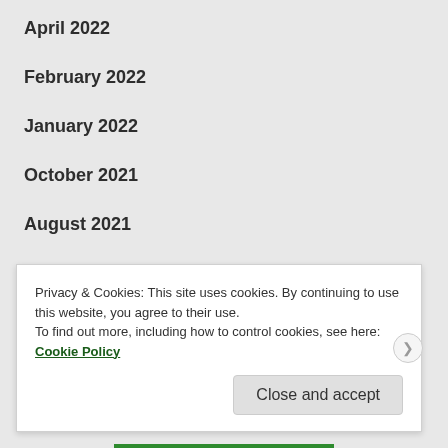April 2022
February 2022
January 2022
October 2021
August 2021
July 2021
June 2021
Privacy & Cookies: This site uses cookies. By continuing to use this website, you agree to their use.
To find out more, including how to control cookies, see here: Cookie Policy
Close and accept